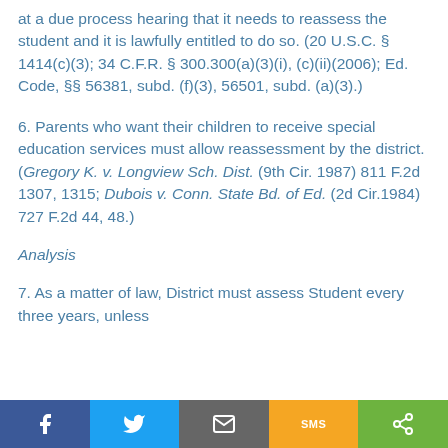at a due process hearing that it needs to reassess the student and it is lawfully entitled to do so. (20 U.S.C. § 1414(c)(3); 34 C.F.R. § 300.300(a)(3)(i), (c)(ii)(2006); Ed. Code, §§ 56381, subd. (f)(3), 56501, subd. (a)(3).)
6. Parents who want their children to receive special education services must allow reassessment by the district. (Gregory K. v. Longview Sch. Dist. (9th Cir. 1987) 811 F.2d 1307, 1315; Dubois v. Conn. State Bd. of Ed. (2d Cir.1984) 727 F.2d 44, 48.)
Analysis
7. As a matter of law, District must assess Student every three years, unless